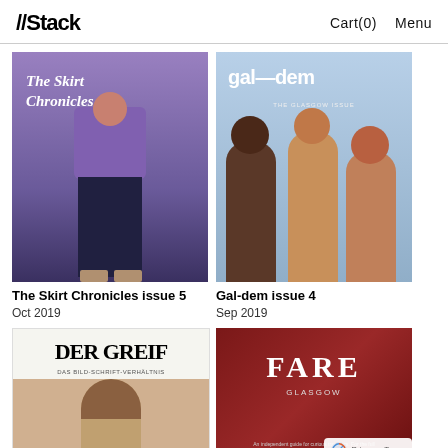//Stack  Cart(0)  Menu
[Figure (photo): Magazine cover: The Skirt Chronicles issue 5 - person in purple sweater and dark jeans]
The Skirt Chronicles issue 5
Oct 2019
[Figure (photo): Magazine cover: Gal-dem issue 4 - three women posing together on light blue background with gal-dem title]
Gal-dem issue 4
Sep 2019
[Figure (photo): Magazine cover: Der Greif - black and white portrait of young man, serif title DER GREIF]
[Figure (photo): Magazine cover: FARE Glasgow - dark red/maroon background with FARE title in white serif font]